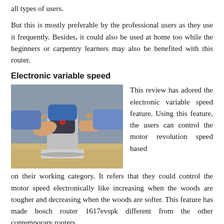all types of users.
But this is mostly preferable by the professional users as they use it frequently. Besides, it could also be used at home too while the beginners or carpentry learners may also be benefited with this router.
Electronic variable speed
[Figure (photo): A person's hands operating a Bosch router tool on a wooden surface]
This review has adored the electronic variable speed feature. Using this feature, the users can control the motor revolution speed based on their working category. It refers that they could control the motor speed electronically like increasing when the woods are tougher and decreasing when the woods are softer. This feature has made bosch router 1617evspk different from the other contemporary routers.